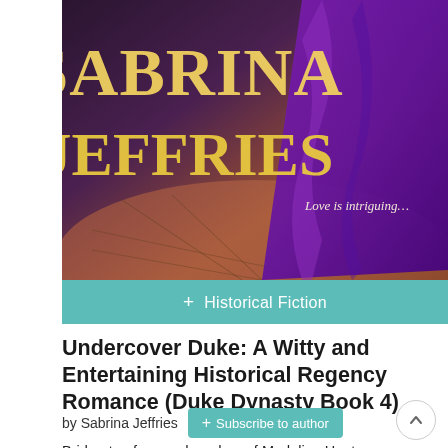[Figure (photo): Book cover for 'Undercover Duke' by Sabrina Jeffries showing the author name in large yellow text against a dark purple and brown background with fabric draped on the right side and the tagline 'Love is intriguing...']
+ Historical Fiction
Undercover Duke: A Witty and Entertaining Historical Regency Romance (Duke Dynasty Book 4)
by Sabrina Jeffries  + Subscribe to author
Bridgerton fans and readers of Madeline Hunter, Eloisa James, and Lisa Kleypas won't want to miss this h... (truncated)